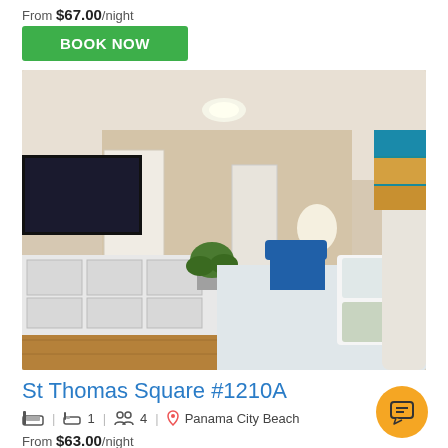From $67.00/night
BOOK NOW
[Figure (photo): Interior photo of a beach-themed studio room with a large bed with seashell-patterned bedding, white dresser, flat-screen TV, blue armchair, and beach artwork on the wall.]
St Thomas Square #1210A
1 | 4 | Panama City Beach
From $63.00/night